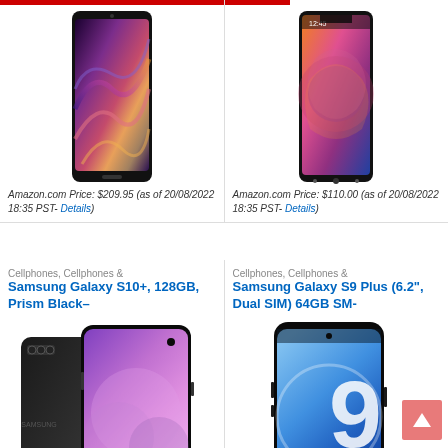[Figure (photo): Samsung Galaxy Note 9 smartphone product image with colorful abstract wallpaper]
Amazon.com Price: $209.95 (as of 20/08/2022 18:35 PST- Details)
[Figure (photo): Samsung Galaxy A10 smartphone product image with colorful floral wallpaper]
Amazon.com Price: $110.00 (as of 20/08/2022 18:35 PST- Details)
Cellphones, Cellphones &
Samsung Galaxy S10+, 128GB, Prism Black–
Cellphones, Cellphones &
Samsung Galaxy S9 Plus (6.2", Dual SIM) 64GB SM-
[Figure (photo): Samsung Galaxy S10+ showing front and back in black color]
[Figure (photo): Samsung Galaxy S9 Plus in blue color showing front face with large 9 logo]